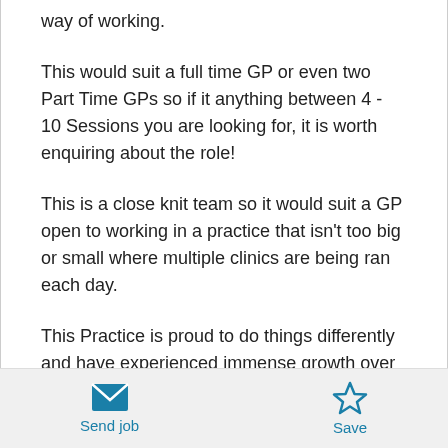way of working.
This would suit a full time GP or even two Part Time GPs so if it anything between 4 - 10 Sessions you are looking for, it is worth enquiring about the role!
This is a close knit team so it would suit a GP open to working in a practice that isn't too big or small where multiple clinics are being ran each day.
This Practice is proud to do things differently and have experienced immense growth over the past
Send job | Save